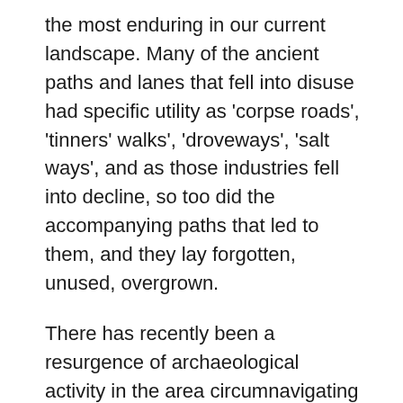the most enduring in our current landscape. Many of the ancient paths and lanes that fell into disuse had specific utility as 'corpse roads', 'tinners' walks', 'droveways', 'salt ways', and as those industries fell into decline, so too did the accompanying paths that led to them, and they lay forgotten, unused, overgrown.
There has recently been a resurgence of archaeological activity in the area circumnavigating Stonehenge around Durrington Walls, where, with the use of aerial photography, an ancient trackway has been discovered. This track, known as The Avenue, is thought to have been a processional route, skirting its way alongside the River Avon directly to the henge itself. Upon looking at the